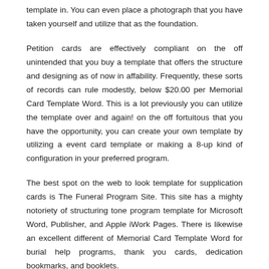template in. You can even place a photograph that you have taken yourself and utilize that as the foundation.
Petition cards are effectively compliant on the off unintended that you buy a template that offers the structure and designing as of now in affability. Frequently, these sorts of records can rule modestly, below $20.00 per Memorial Card Template Word. This is a lot previously you can utilize the template over and again! on the off fortuitous that you have the opportunity, you can create your own template by utilizing a event card template or making a 8-up kind of configuration in your preferred program.
The best spot on the web to look template for supplication cards is The Funeral Program Site. This site has a mighty notoriety of structuring tone program template for Microsoft Word, Publisher, and Apple iWork Pages. There is likewise an excellent different of Memorial Card Template Word for burial help programs, thank you cards, dedication bookmarks, and booklets.